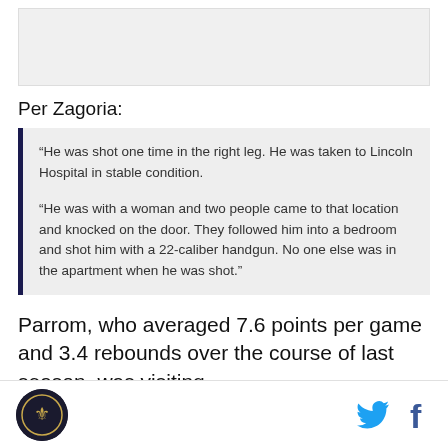[Figure (other): Partial image placeholder at top of article]
Per Zagoria:
"He was shot one time in the right leg. He was taken to Lincoln Hospital in stable condition.

"He was with a woman and two people came to that location and knocked on the door. They followed him into a bedroom and shot him with a 22-caliber handgun. No one else was in the apartment when he was shot."
Parrom, who averaged 7.6 points per game and 3.4 rebounds over the course of last season, was visiting
Logo icon | Twitter icon | Facebook icon